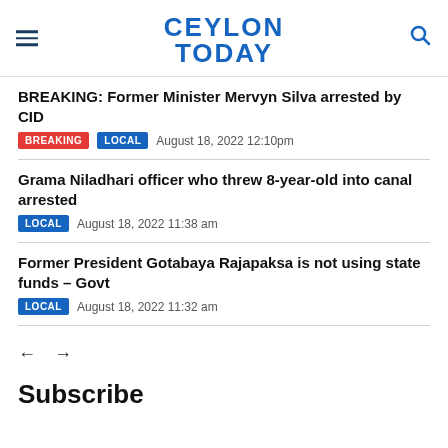CEYLON TODAY
BREAKING: Former Minister Mervyn Silva arrested by CID
BREAKING  LOCAL  August 18, 2022 12:10pm
Grama Niladhari officer who threw 8-year-old into canal arrested
LOCAL  August 18, 2022 11:38 am
Former President Gotabaya Rajapaksa is not using state funds – Govt
LOCAL  August 18, 2022 11:32 am
← →
Subscribe